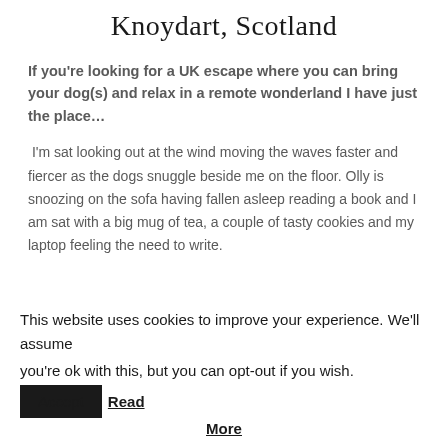Knoydart, Scotland
If you're looking for a UK escape where you can bring your dog(s) and relax in a remote wonderland I have just the place…
I'm sat looking out at the wind moving the waves faster and fiercer as the dogs snuggle beside me on the floor. Olly is snoozing on the sofa having fallen asleep reading a book and I am sat with a big mug of tea, a couple of tasty cookies and my laptop feeling the need to write.
This website uses cookies to improve your experience. We'll assume you're ok with this, but you can opt-out if you wish. Accept Read More